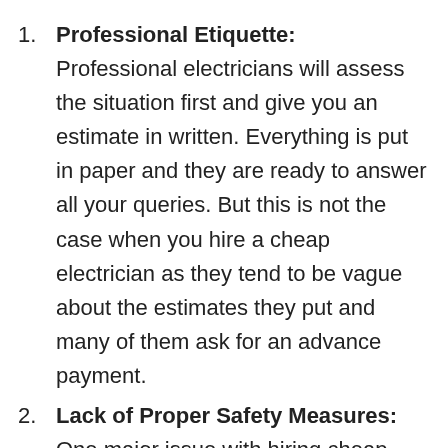Professional Etiquette: Professional electricians will assess the situation first and give you an estimate in written. Everything is put in paper and they are ready to answer all your queries. But this is not the case when you hire a cheap electrician as they tend to be vague about the estimates they put and many of them ask for an advance payment.
Lack of Proper Safety Measures: One major issue with hiring cheap